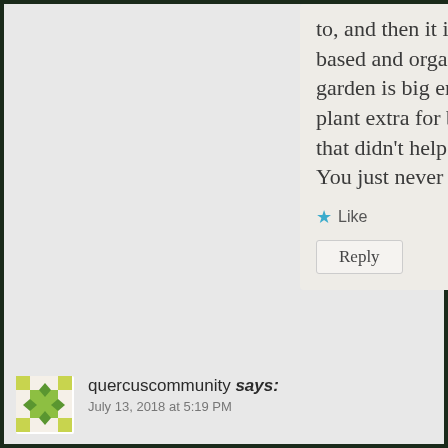to, and then it is neem oil based and organic. My garden is big enough to plant extra for bugs, but that didn't help last year. You just never know...
Like
Reply
quercuscommunity says:
July 13, 2018 at 5:19 PM